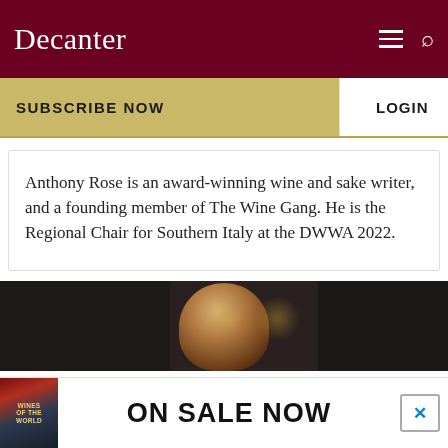Decanter
SUBSCRIBE NOW
LOGIN
Anthony Rose is an award-winning wine and sake writer, and a founding member of The Wine Gang. He is the Regional Chair for Southern Italy at the DWWA 2022.
[Figure (photo): Partial photo of a person in a dark/bokeh background setting]
[Figure (infographic): Advertisement banner reading ON SALE NOW with a Wines of the World book cover]